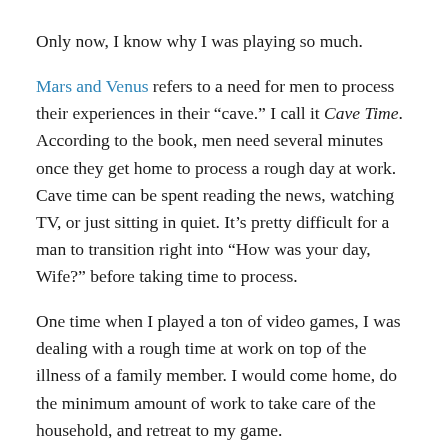Only now, I know why I was playing so much.
Mars and Venus refers to a need for men to process their experiences in their “cave.” I call it Cave Time. According to the book, men need several minutes once they get home to process a rough day at work. Cave time can be spent reading the news, watching TV, or just sitting in quiet. It’s pretty difficult for a man to transition right into “How was your day, Wife?” before taking time to process.
One time when I played a ton of video games, I was dealing with a rough time at work on top of the illness of a family member. I would come home, do the minimum amount of work to take care of the household, and retreat to my game.
It seemed like a real problem at the time, and Wife cautiously challenged my desire to be playing so often. I wasn’t sure what to say, since it was all I wanted to do after work.